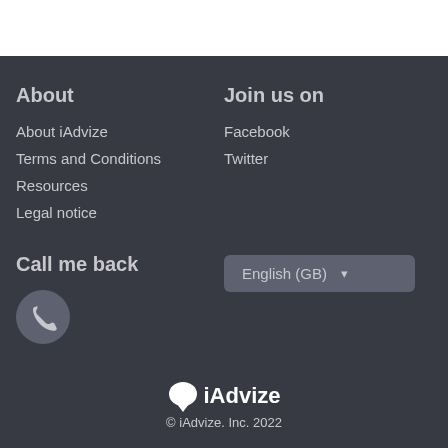About
About iAdvize
Terms and Conditions
Resources
Legal notice
Join us on
Facebook
Twitter
Call me back
[Figure (other): Phone icon in a circular grey button]
English (GB) ▾
iAdvize © iAdvize. Inc. 2022